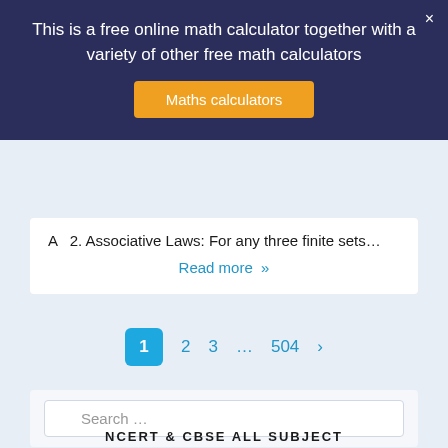This is a free online math calculator together with a variety of other free math calculators
Maths calculators
A  2. Associative Laws: For any three finite sets…
Read more »
1  2  3  ...  504  >
Search …
NCERT & CBSE ALL SUBJECT